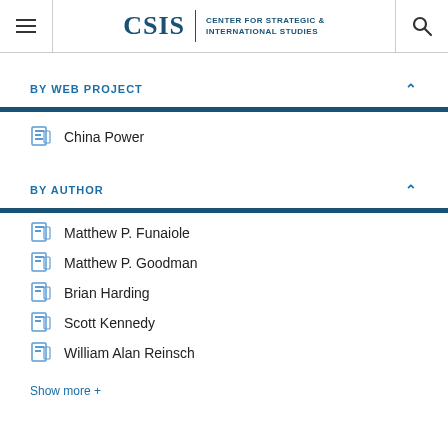[Figure (logo): CSIS Center for Strategic & International Studies logo with hamburger menu and search icon]
BY WEB PROJECT
China Power
BY AUTHOR
Matthew P. Funaiole
Matthew P. Goodman
Brian Harding
Scott Kennedy
William Alan Reinsch
Show more +